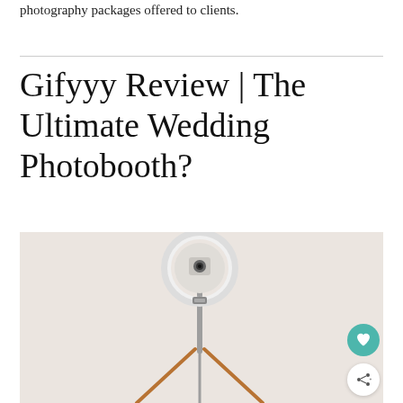photography packages offered to clients.
Gifyyy Review | The Ultimate Wedding Photobooth?
[Figure (photo): A Gifyyy photobooth device — a circular ring light with a camera mounted on a tripod with copper-colored legs, photographed against a white painted brick wall. Two circular floating action buttons are visible on the right side: a teal/green heart button and a white share button.]